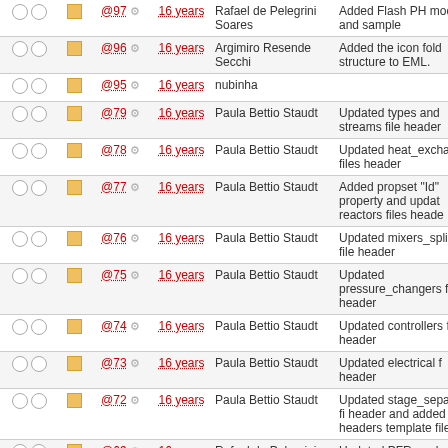|  |  | Rev | Age | Author | Message |
| --- | --- | --- | --- | --- | --- |
| ○ ○ | ■ | @97 ⚙ | 16 years | Rafael de Pelegrini Soares | Added Flash PH model and sample |
| ○ ○ | ■ | @96 ⚙ | 16 years | Argimiro Resende Secchi | Added the icon folder structure to EML. |
| ○ ○ | ■ | @95 ⚙ | 16 years | nubinha |  |
| ○ ○ | ■ | @79 ⚙ | 16 years | Paula Bettio Staudt | Updated types and streams file header |
| ○ ○ | ■ | @78 ⚙ | 16 years | Paula Bettio Staudt | Updated heat_exchangers files header |
| ○ ○ | ■ | @77 ⚙ | 16 years | Paula Bettio Staudt | Added propset "Id" property and updated reactors files header |
| ○ ○ | ■ | @76 ⚙ | 16 years | Paula Bettio Staudt | Updated mixers_splitters file header |
| ○ ○ | ■ | @75 ⚙ | 16 years | Paula Bettio Staudt | Updated pressure_changers files header |
| ○ ○ | ■ | @74 ⚙ | 16 years | Paula Bettio Staudt | Updated controllers files header |
| ○ ○ | ■ | @73 ⚙ | 16 years | Paula Bettio Staudt | Updated electrical files header |
| ○ ○ | ■ | @72 ⚙ | 16 years | Paula Bettio Staudt | Updated stage_separators files header and added headers template files |
| ○ ○ | ■ | @69 ⚙ | 16 years | Rafael de Pelegrini Soares | Updated PFR model |